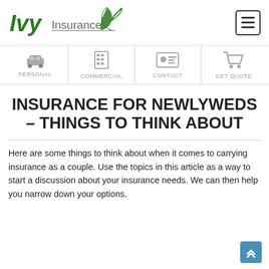[Figure (logo): Ivy Insurance logo — green italic 'Ivy' with leaf graphic, followed by 'Insurance' in grey with underline]
[Figure (infographic): Navigation bar with four icons: car (PERSONAL), building (COMMERCIAL), ID card (CONTACT), shopping cart (GET QUOTE)]
INSURANCE FOR NEWLYWEDS – THINGS TO THINK ABOUT
Here are some things to think about when it comes to carrying insurance as a couple. Use the topics in this article as a way to start a discussion about your insurance needs. We can then help you narrow down your options.